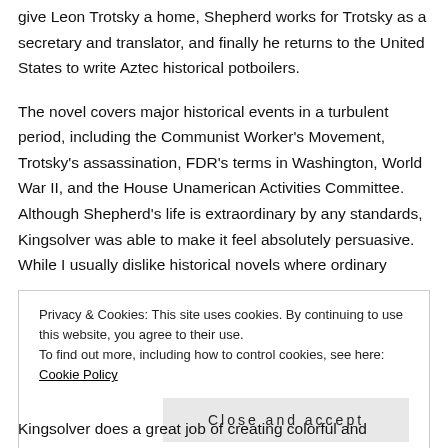give Leon Trotsky a home, Shepherd works for Trotsky as a secretary and translator, and finally he returns to the United States to write Aztec historical potboilers.
The novel covers major historical events in a turbulent period, including the Communist Worker's Movement, Trotsky's assassination, FDR's terms in Washington, World War II, and the House Unamerican Activities Committee. Although Shepherd's life is extraordinary by any standards, Kingsolver was able to make it feel absolutely persuasive. While I usually dislike historical novels where ordinary
Privacy & Cookies: This site uses cookies. By continuing to use this website, you agree to their use.
To find out more, including how to control cookies, see here: Cookie Policy
Kingsolver does a great job of creating colorful and